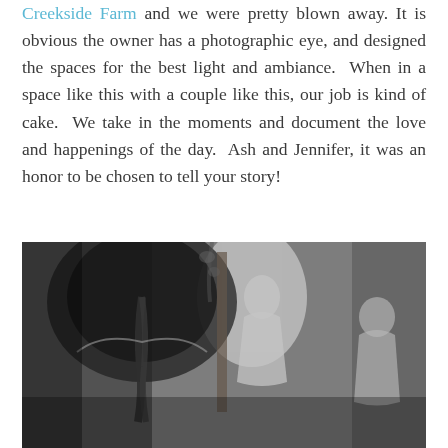Creekside Farm and we were pretty blown away. It is obvious the owner has a photographic eye, and designed the spaces for the best light and ambiance. When in a space like this with a couple like this, our job is kind of cake. We take in the moments and document the love and happenings of the day. Ash and Jennifer, it was an honor to be chosen to tell your story!
[Figure (photo): Black and white wedding photo showing a bride from behind with a braided updo, looking into a mirror. In the mirror's reflection, another bride in a white gown stands near a window with floral arch decorations. A third woman in white stands to the right.]